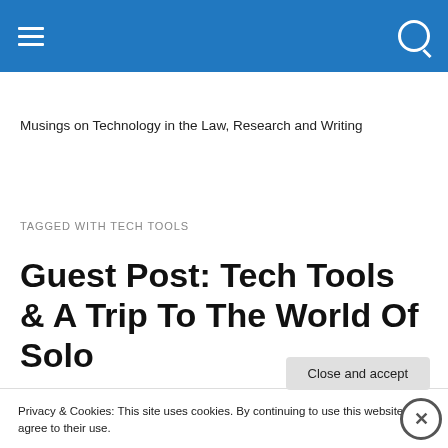Musings on Technology in the Law, Research and Writing
TAGGED WITH TECH TOOLS
Guest Post: Tech Tools & A Trip To The World Of Solo
Privacy & Cookies: This site uses cookies. By continuing to use this website, you agree to their use.
To find out more, including how to control cookies, see here: Cookie Policy
Close and accept
Advertisements